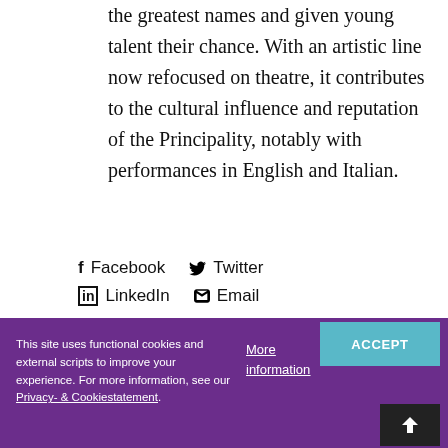the greatest names and given young talent their chance. With an artistic line now refocused on theatre, it contributes to the cultural influence and reputation of the Principality, notably with performances in English and Italian.
Facebook
Twitter
LinkedIn
Email
This site uses functional cookies and external scripts to improve your experience. For more information, see our Privacy- & Cookiestatement. | More information | ACCEPT